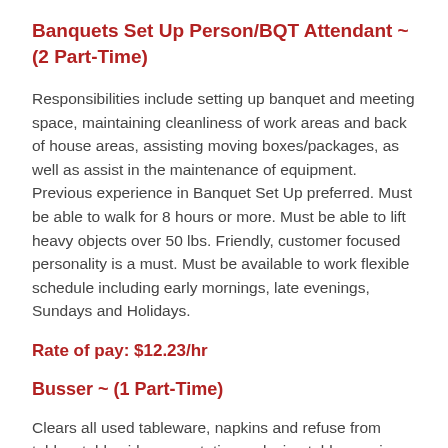Banquets Set Up Person/BQT Attendant ~ (2 Part-Time)
Responsibilities include setting up banquet and meeting space, maintaining cleanliness of work areas and back of house areas, assisting moving boxes/packages, as well as assist in the maintenance of equipment. Previous experience in Banquet Set Up preferred. Must be able to walk for 8 hours or more. Must be able to lift heavy objects over 50 lbs. Friendly, customer focused personality is a must. Must be available to work flexible schedule including early mornings, late evenings, Sundays and Holidays.
Rate of pay: $12.23/hr
Busser ~ (1 Part-Time)
Clears all used tableware, napkins and refuse from tables, table side presentations, placing tableware in